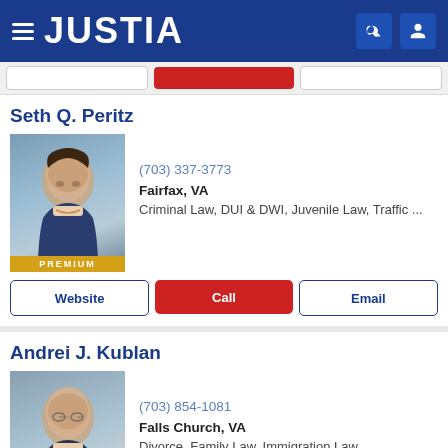JUSTIA
Seth Q. Peritz
(703) 337-3773
Fairfax, VA
Criminal Law, DUI & DWI, Juvenile Law, Traffic ...
Andrei J. Kublan
(703) 854-1081
Falls Church, VA
Divorce, Family Law, Immigration Law